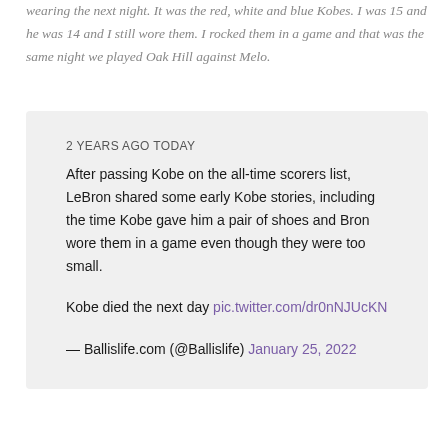wearing the next night. It was the red, white and blue Kobes. I was 15 and he was 14 and I still wore them. I rocked them in a game and that was the same night we played Oak Hill against Melo.
2 YEARS AGO TODAY
After passing Kobe on the all-time scorers list, LeBron shared some early Kobe stories, including the time Kobe gave him a pair of shoes and Bron wore them in a game even though they were too small.

Kobe died the next day pic.twitter.com/dr0nNJUcKN

— Ballislife.com (@Ballislife) January 25, 2022